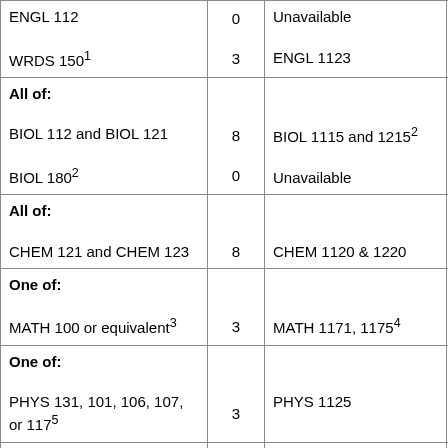| ENGL 112
WRDS 150¹ | 0
3 | Unavailable
ENGL 1123 | 0
3 |
| All of:
BIOL 112 and BIOL 121
BIOL 180² | 8
0 | BIOL 1115 and 1215²
Unavailable | 8
0 |
| All of:
CHEM 121 and CHEM 123 | 8 | CHEM 1120 & 1220 | 8 |
| One of:
MATH 100 or equivalent³ | 3 | MATH 1171, 1175⁴ | 4 |
| One of:
PHYS 131, 101, 106, 107, or 117⁵ | 3 | PHYS 1125 | 4 |
| Restricted electives⁶ | 3 | Restricted electives⁶ | 3 |